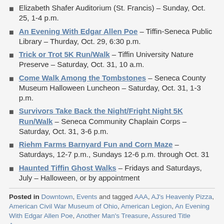Elizabeth Shafer Auditorium (St. Francis) – Sunday, Oct. 25, 1-4 p.m.
An Evening With Edgar Allen Poe – Tiffin-Seneca Public Library – Thurday, Oct. 29, 6:30 p.m.
Trick or Trot 5K Run/Walk – Tiffin University Nature Preserve – Saturday, Oct. 31, 10 a.m.
Come Walk Among the Tombstones – Seneca County Museum Halloween Luncheon – Saturday, Oct. 31, 1-3 p.m.
Survivors Take Back the Night/Fright Night 5K Run/Walk – Seneca Community Chaplain Corps – Saturday, Oct. 31, 3-6 p.m.
Riehm Farms Barnyard Fun and Corn Maze – Saturdays, 12-7 p.m., Sundays 12-6 p.m. through Oct. 31
Haunted Tiffin Ghost Walks – Fridays and Saturdays, July – Halloween, or by appointment
Posted in Downtown, Events and tagged AAA, AJ's Heavenly Pizza, American Civil War Museum of Ohio, American Legion, An Evening With Edgar Allen Poe, Another Man's Treasure, Assured Title Agency,